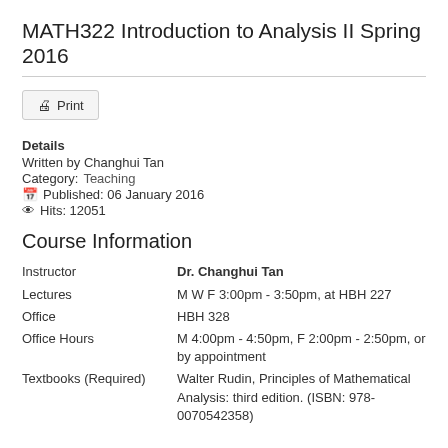MATH322 Introduction to Analysis II Spring 2016
Print
Details
Written by Changhui Tan
Category: Teaching
Published: 06 January 2016
Hits: 12051
Course Information
| Field | Value |
| --- | --- |
| Instructor | Dr. Changhui Tan |
| Lectures | M W F 3:00pm - 3:50pm, at HBH 227 |
| Office | HBH 328 |
| Office Hours | M 4:00pm - 4:50pm, F 2:00pm - 2:50pm, or by appointment |
| Textbooks (Required) | Walter Rudin, Principles of Mathematical Analysis: third edition. (ISBN: 978-0070542358) |